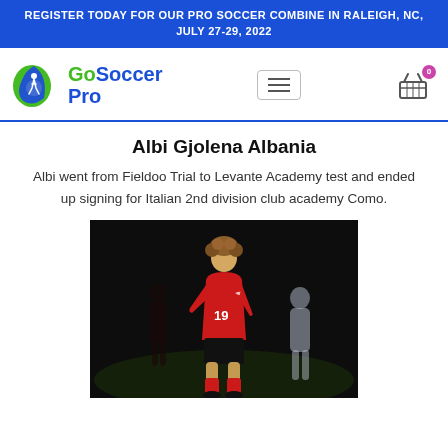REGISTER TODAY FOR OUR PRO SOCCER COMBINE IN RALEIGH, NC, JULY 27-29, 2022
[Figure (logo): GoSoccer Pro logo with green and blue soccer ball icon]
Albi Gjolena Albania
Albi went from Fieldoo Trial to Levante Academy test and ended up signing for Italian 2nd division club academy Como.
[Figure (photo): Soccer player wearing red jersey number 19 running on field at night, with blurred players in background]